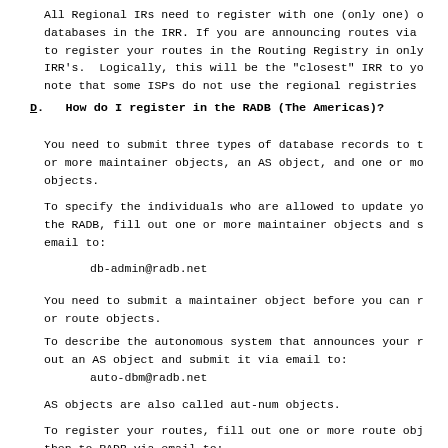All Regional IRs need to register with one (only one) o databases in the IRR. If you are announcing routes via to register your routes in the Routing Registry in only IRR's.  Logically, this will be the "closest" IRR to yo note that some ISPs do not use the regional registries
D.   How do I register in the RADB (The Americas)?
You need to submit three types of database records to t or more maintainer objects, an AS object, and one or mo objects.
To specify the individuals who are allowed to update yo the RADB, fill out one or more maintainer objects and s email to:
db-admin@radb.net
You need to submit a maintainer object before you can r or route objects.
To describe the autonomous system that announces your r out an AS object and submit it via email to:
auto-dbm@radb.net
AS objects are also called aut-num objects.
To register your routes, fill out one or more route obj then to RADB via email to: